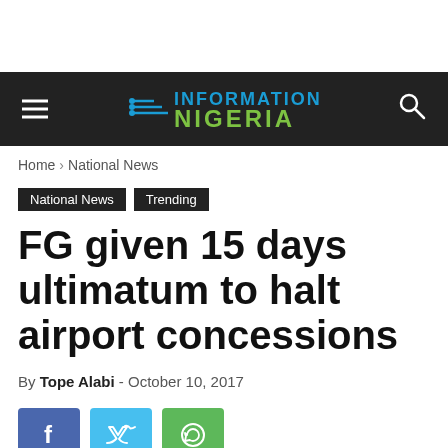Information Nigeria
Home › National News
National News   Trending
FG given 15 days ultimatum to halt airport concessions
By Tope Alabi - October 10, 2017
[Figure (other): Social share buttons: Facebook (blue), Twitter (light blue), WhatsApp (green)]